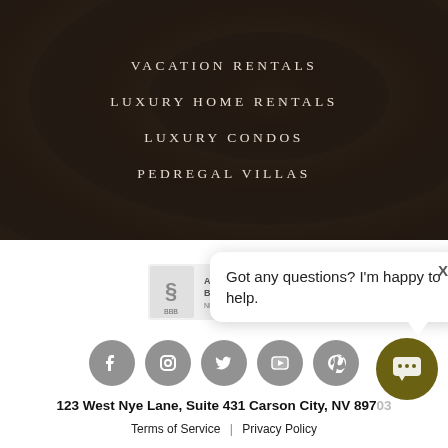VACATION RENTALS
LUXURY HOME RENTALS
LUXURY CONDOS
PEDREGAL VILLAS
[Figure (logo): BBB Accredited Business logo]
Got any questions? I'm happy to help.
[Figure (infographic): Social media icons row: Facebook, Instagram, Twitter, YouTube, Pinterest]
123 West Nye Lane, Suite 431 Carson City, NV 89703
Terms of Service | Privacy Policy